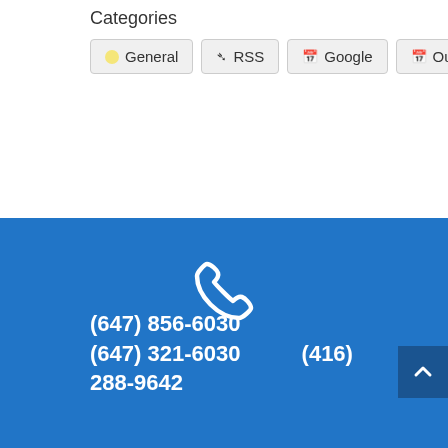Categories
General  RSS  Google  Outlook
[Figure (illustration): White phone/telephone handset icon on blue background]
(647) 856-6030
(647) 321-6030
(416) 288-9642